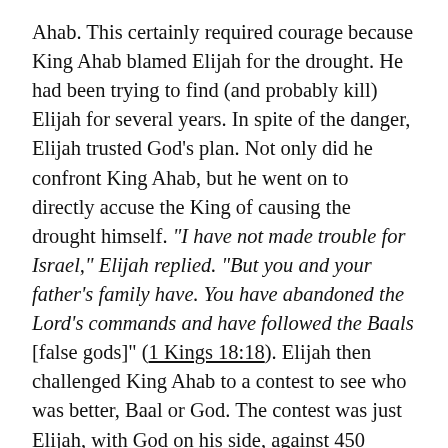Ahab.  This certainly required courage because King Ahab blamed Elijah for the drought.  He had been trying to find (and probably kill) Elijah for several years.  In spite of the danger, Elijah trusted God's plan.  Not only did he confront King Ahab, but he went on to directly accuse the King of causing the drought himself.  "I have not made trouble for Israel," Elijah replied.  "But you and your father's family have. You have abandoned the Lord's commands and have followed the Baals [false gods]" (1 Kings 18:18).  Elijah then challenged King Ahab to a contest to see who was better, Baal or God.  The contest was just Elijah, with God on his side, against 450 prophets of Baal.
You know how the story goes – not only did God prove his authority, but he did so decisively.  Then the fire of the Lord fell and burned up the sacrifice, the wood, the stones and the soil, and also licked up